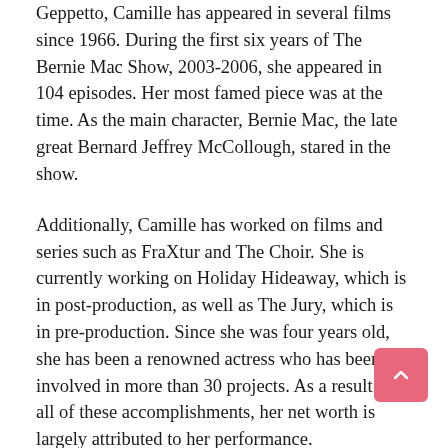Geppetto, Camille has appeared in several films since 1966. During the first six years of The Bernie Mac Show, 2003-2006, she appeared in 104 episodes. Her most famed piece was at the time. As the main character, Bernie Mac, the late great Bernard Jeffrey McCollough, stared in the show.
Additionally, Camille has worked on films and series such as FraXtur and The Choir. She is currently working on Holiday Hideaway, which is in post-production, as well as The Jury, which is in pre-production. Since she was four years old, she has been a renowned actress who has been involved in more than 30 projects. As a result of all of these accomplishments, her net worth is largely attributed to her performance.